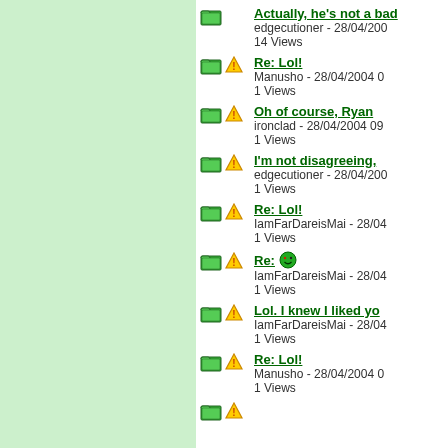Actually, he's not a bad
edgecutioner - 28/04/200
14 Views
Re: Lol!
Manusho - 28/04/2004 0
1 Views
Oh of course, Ryan
ironclad - 28/04/2004 09
1 Views
I'm not disagreeing,
edgecutioner - 28/04/200
1 Views
Re: Lol!
IamFarDareisMai - 28/04
1 Views
Re:
IamFarDareisMai - 28/04
1 Views
Lol. I knew I liked yo
IamFarDareisMai - 28/04
1 Views
Re: Lol!
Manusho - 28/04/2004 0
1 Views